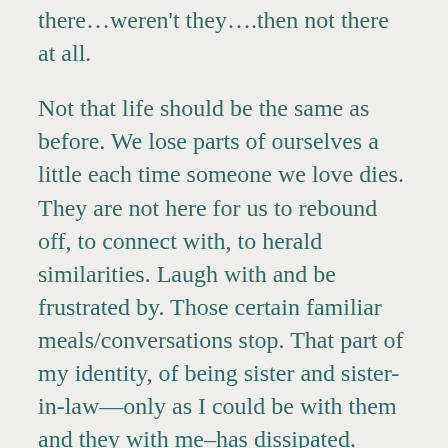there…weren't they….then not there at all.
Not that life should be the same as before. We lose parts of ourselves a little each time someone we love dies. They are not here for us to rebound off, to connect with, to herald similarities. Laugh with and be frustrated by. Those certain familiar meals/conversations stop. That part of my identity, of being sister and sister-in-law—only as I could be with them and they with me–has dissipated.
I get it. I don't much like it. Nor the tears that rise and spill as I smell a familiar fragrance, hear a piece of music, catch sight of their images. Or just see a child reach for an extended mother's hand: exquisite tenderness of blood with blood. Or read of